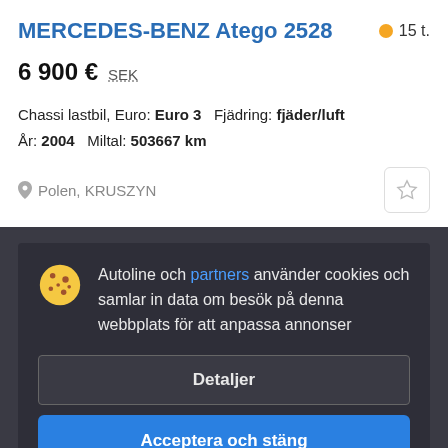MERCEDES-BENZ Atego 2528
15 t.
6 900 €  SEK
Chassi lastbil, Euro: Euro 3   Fjädring: fjäder/luft
År: 2004   Miltal: 503667 km
Polen, KRUSZYN
Autoline och partners använder cookies och samlar in data om besök på denna webbplats för att anpassa annonser
Detaljer
Acceptera och stäng
5 076 €